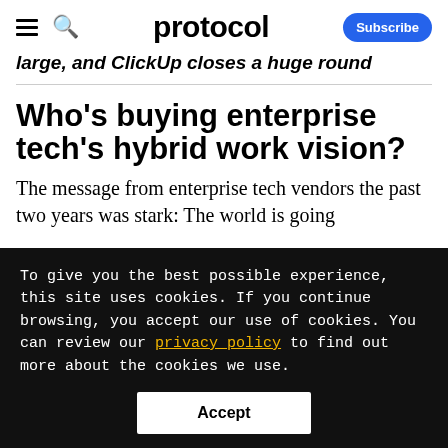protocol — Subscribe
large, and ClickUp closes a huge round
Who's buying enterprise tech's hybrid work vision?
The message from enterprise tech vendors the past two years was stark: The world is going
To give you the best possible experience, this site uses cookies. If you continue browsing, you accept our use of cookies. You can review our privacy policy to find out more about the cookies we use.
Accept